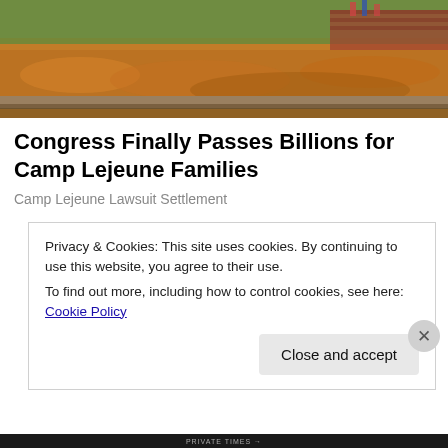[Figure (photo): Outdoor scene with brick walkway, autumn leaves on ground, grass and brick wall in background]
Congress Finally Passes Billions for Camp Lejeune Families
Camp Lejeune Lawsuit Settlement
[Figure (illustration): Illustration of elderly man with white hair wearing a large dark cowboy hat, shown from shoulders up, peeking upward]
Privacy & Cookies: This site uses cookies. By continuing to use this website, you agree to their use.
To find out more, including how to control cookies, see here: Cookie Policy
Close and accept